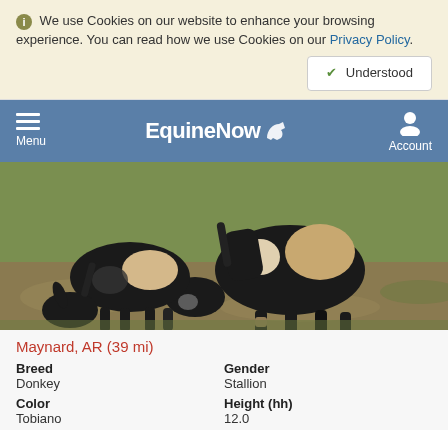We use Cookies on our website to enhance your browsing experience. You can read how we use Cookies on our Privacy Policy.
Understood
Menu  EquineNow  Account
[Figure (photo): Two black and white piebald donkeys grazing on grass, one with head lowered eating, the other standing.]
Maynard, AR (39 mi)
| Breed | Gender |
| --- | --- |
| Donkey | Stallion |
| Color | Height (hh) |
| --- | --- |
| Tobiano | 12.0 |